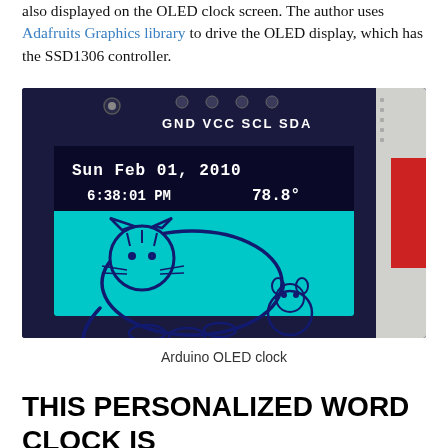also displayed on the OLED clock screen. The author uses Adafruits Graphics library to drive the OLED display, which has the SSD1306 controller.
[Figure (photo): Photo of an Arduino OLED clock module showing an OLED display with 'Sun Feb 01, 2010 6:38:01 PM 78.8°' and a pixel-art cat (Pusheen) on a teal screen background. The module has GND VCC SCL SDA pin labels visible.]
Arduino OLED clock
THIS PERSONALIZED WORD CLOCK IS